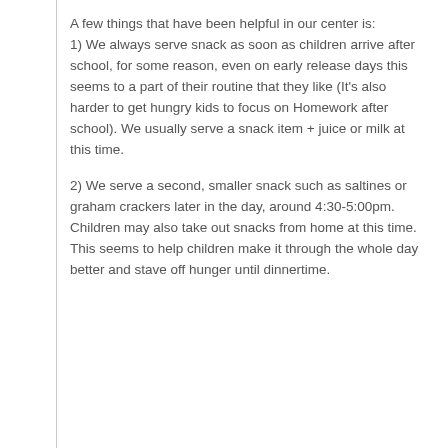A few things that have been helpful in our center is:
1) We always serve snack as soon as children arrive after school, for some reason, even on early release days this seems to a part of their routine that they like (It's also harder to get hungry kids to focus on Homework after school). We usually serve a snack item + juice or milk at this time.
2) We serve a second, smaller snack such as saltines or graham crackers later in the day, around 4:30-5:00pm. Children may also take out snacks from home at this time. This seems to help children make it through the whole day better and stave off hunger until dinnertime.